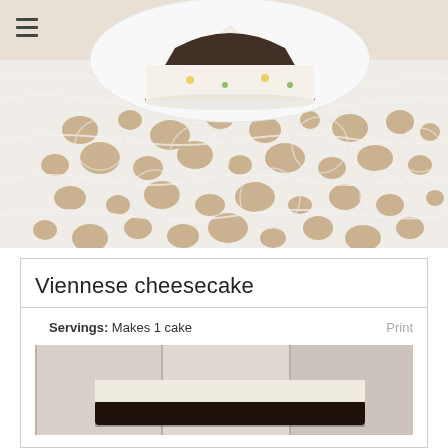[Figure (photo): A slice of Viennese cheesecake with dark chocolate top on a white plate, placed on a white lace tablecloth. The lace has an intricate floral pattern with open holes showing a warm brown background.]
Viennese cheesecake
Servings: Makes 1 cake
Print
[Figure (photo): Partial view of cheesecake with dark chocolate glaze on top, light/white filling visible, against a light grey/white background.]